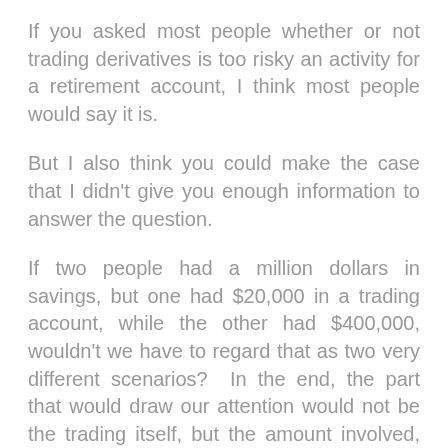If you asked most people whether or not trading derivatives is too risky an activity for a retirement account, I think most people would say it is.
But I also think you could make the case that I didn't give you enough information to answer the question.
If two people had a million dollars in savings, but one had $20,000 in a trading account, while the other had $400,000, wouldn't we have to regard that as two very different scenarios? In the end, the part that would draw our attention would not be the trading itself, but the amount involved, right?
It's very hard for the $20,000 we have walking around in the Indian countryside to hurt the